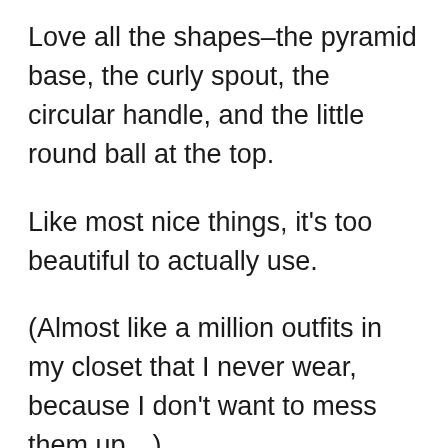Love all the shapes–the pyramid base, the curly spout, the circular handle, and the little round ball at the top.
Like most nice things, it's too beautiful to actually use.
(Almost like a million outfits in my closet that I never wear, because I don't want to mess them up…)